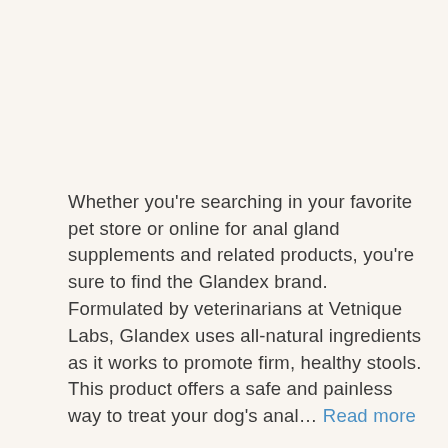Whether you're searching in your favorite pet store or online for anal gland supplements and related products, you're sure to find the Glandex brand. Formulated by veterinarians at Vetnique Labs, Glandex uses all-natural ingredients as it works to promote firm, healthy stools. This product offers a safe and painless way to treat your dog's anal… Read more